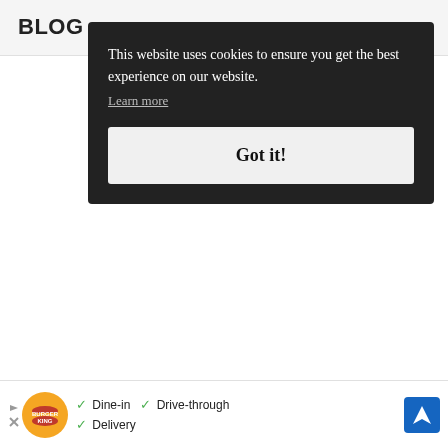BLOG
This website uses cookies to ensure you get the best experience on our website.
Learn more
Got it!
[Figure (infographic): Burger King advertisement banner with logo, checkmarks for Dine-in, Drive-through, Delivery, and a navigation arrow icon]